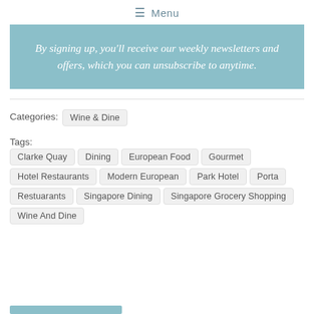≡ Menu
By signing up, you'll receive our weekly newsletters and offers, which you can unsubscribe to anytime.
Categories: Wine & Dine
Tags: Clarke Quay  Dining  European Food  Gourmet  Hotel Restaurants  Modern European  Park Hotel  Porta  Restuarants  Singapore Dining  Singapore Grocery Shopping  Wine And Dine